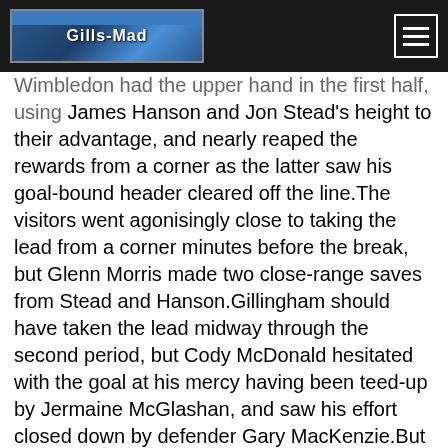Gills-Mad
Wimbledon had the upper hand in the first half, using James Hanson and Jon Stead's height to their advantage, and nearly reaped the rewards from a corner as the latter saw his goal-bound header cleared off the line.The visitors went agonisingly close to taking the lead from a corner minutes before the break, but Glenn Morris made two close-range saves from Stead and Hanson.Gillingham should have taken the lead midway through the second period, but Cody McDonald hesitated with the goal at his mercy having been teed-up by Jermaine McGlashan, and saw his effort closed down by defender Gary MacKenzie.But the Gills eventually made the most of an increasingly stretched game as substitute Marquis found space and curled the ball past visiting goalkeeper Ben Williams in the 72nd minute.Bradford skipper Stephen Darby then cleared off the line late on to prevent Marquis from doubling his tally